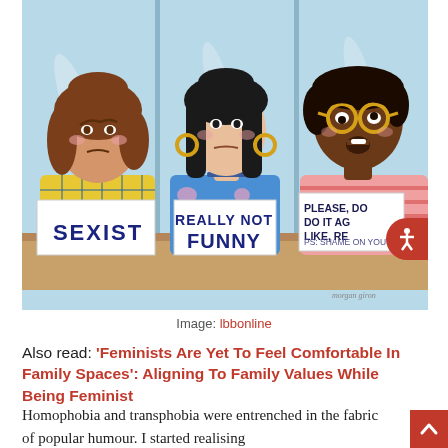[Figure (illustration): Illustration of three people sitting behind a table, each holding a sign. Left person (woman with short brown hair, yellow plaid shirt) holds a sign reading 'SEXIST'. Middle person (woman with long black hair, gold hoop earrings, blue floral top) holds a sign reading 'REALLY NOT FUNNY'. Right person (person with dark skin, yellow glasses, pink striped top) holds a partially visible sign reading 'PLEASE, DO IT AG LIKE, RE PS: SHAME ON YOU'. Background is light blue with panel dividers. Artist signature reads 'morgan giron'.]
Image: lbbonline
Also read: ‘Feminists Are Yet To Feel Comfortable In Family Spaces’: Aligning To Family Values While Being Feminist
Homophobia and transphobia were entrenched in the fabric of popular humour. I started realising